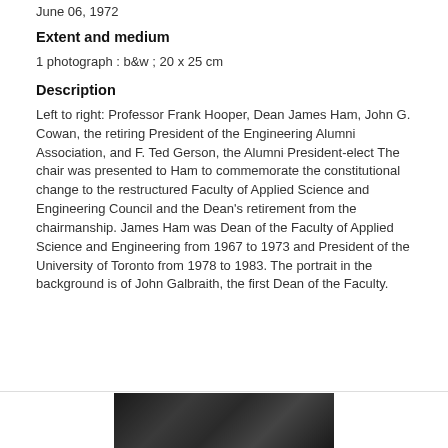June 06, 1972
Extent and medium
1 photograph : b&w ; 20 x 25 cm
Description
Left to right: Professor Frank Hooper, Dean James Ham, John G. Cowan, the retiring President of the Engineering Alumni Association, and F. Ted Gerson, the Alumni President-elect The chair was presented to Ham to commemorate the constitutional change to the restructured Faculty of Applied Science and Engineering Council and the Dean's retirement from the chairmanship. James Ham was Dean of the Faculty of Applied Science and Engineering from 1967 to 1973 and President of the University of Toronto from 1978 to 1983. The portrait in the background is of John Galbraith, the first Dean of the Faculty.
[Figure (photo): Black and white photograph strip showing group of people]